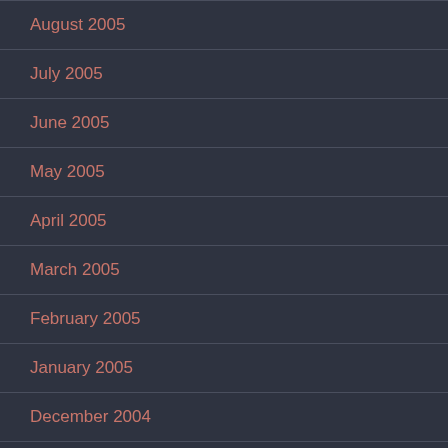August 2005
July 2005
June 2005
May 2005
April 2005
March 2005
February 2005
January 2005
December 2004
November 2004
October 2004
September 2004